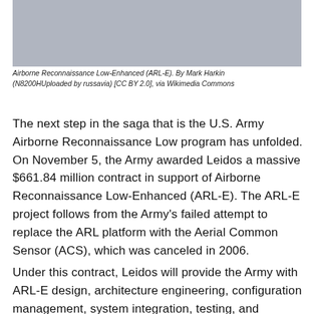[Figure (photo): Photograph of an aircraft, partially visible, with a grey/blue sky background. Airborne Reconnaissance Low-Enhanced (ARL-E) aircraft.]
Airborne Reconnaissance Low-Enhanced (ARL-E). By Mark Harkin (N8200HUploaded by russavia) [CC BY 2.0], via Wikimedia Commons
The next step in the saga that is the U.S. Army Airborne Reconnaissance Low program has unfolded. On November 5, the Army awarded Leidos a massive $661.84 million contract in support of Airborne Reconnaissance Low-Enhanced (ARL-E). The ARL-E project follows from the Army's failed attempt to replace the ARL platform with the Aerial Common Sensor (ACS), which was canceled in 2006.
Under this contract, Leidos will provide the Army with ARL-E design, architecture engineering, configuration management, system integration, testing, and